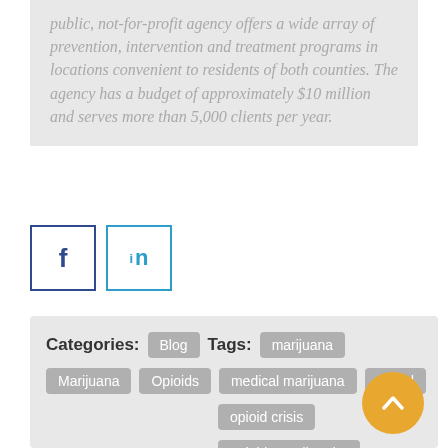public, not-for-profit agency offers a wide array of prevention, intervention and treatment programs in locations convenient to residents of both counties. The agency has a budget of approximately $10 million and serves more than 5,000 clients per year.
[Figure (other): Facebook and LinkedIn social media icon buttons]
Categories: Blog   Tags: marijuana Marijuana Opioids medical marijuana opioid opioid crisis opioid use disorder Substance Use Disorder